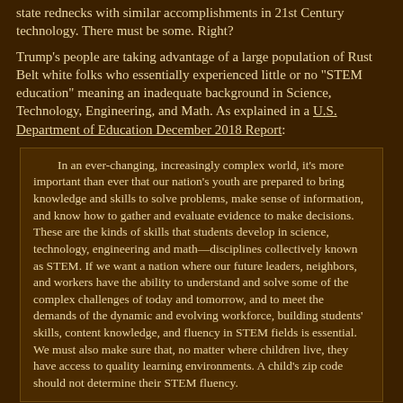state rednecks with similar accomplishments in 21st Century technology. There must be some. Right?
Trump's people are taking advantage of a large population of Rust Belt white folks who essentially experienced little or no "STEM education" meaning an inadequate background in Science, Technology, Engineering, and Math. As explained in a U.S. Department of Education December 2018 Report:
In an ever-changing, increasingly complex world, it's more important than ever that our nation's youth are prepared to bring knowledge and skills to solve problems, make sense of information, and know how to gather and evaluate evidence to make decisions. These are the kinds of skills that students develop in science, technology, engineering and math—disciplines collectively known as STEM. If we want a nation where our future leaders, neighbors, and workers have the ability to understand and solve some of the complex challenges of today and tomorrow, and to meet the demands of the dynamic and evolving workforce, building students' skills, content knowledge, and fluency in STEM fields is essential. We must also make sure that, no matter where children live, they have access to quality learning environments. A child's zip code should not determine their STEM fluency.